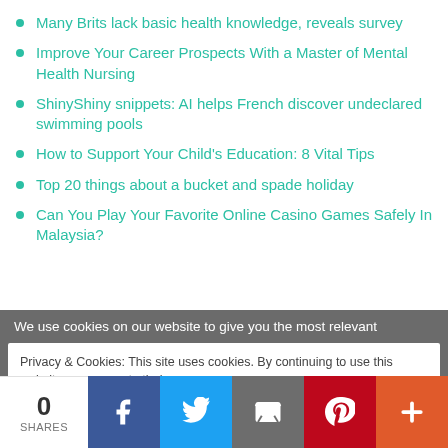Many Brits lack basic health knowledge, reveals survey
Improve Your Career Prospects With a Master of Mental Health Nursing
ShinyShiny snippets: AI helps French discover undeclared swimming pools
How to Support Your Child's Education: 8 Vital Tips
Top 20 things about a bucket and spade holiday
Can You Play Your Favorite Online Casino Games Safely In Malaysia?
We use cookies on our website to give you the most relevant
Privacy & Cookies: This site uses cookies. By continuing to use this website, you agree to their use.
To find out more, including how to control cookies, see here: Cookie Policy
0
SHARES